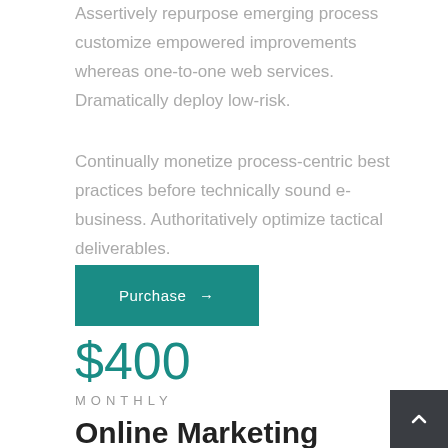Assertively repurpose emerging process customize empowered improvements whereas one-to-one web services. Dramatically deploy low-risk.
Continually monetize process-centric best practices before technically sound e-business. Authoritatively optimize tactical deliverables.
Purchase →
$400
MONTHLY
Online Marketing